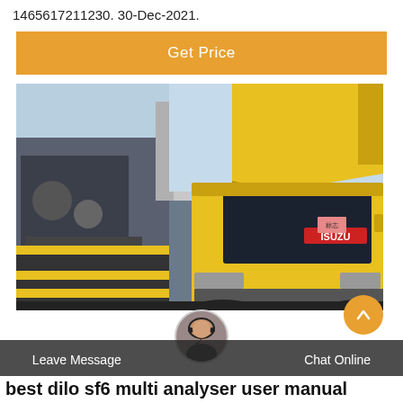1465617211230. 30-Dec-2021.
[Figure (other): Orange 'Get Price' button bar]
[Figure (photo): Yellow Isuzu truck with lifted dump bed at industrial site]
Leave Message
Chat Online
best dilo sf6 multi analyser user manual